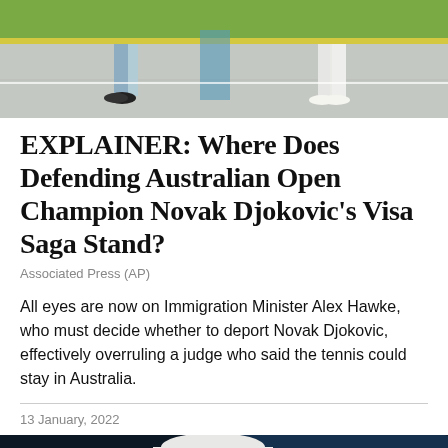[Figure (photo): Top photo showing people on a tennis court, partial view of legs and shoes against a green and yellow background]
EXPLAINER: Where Does Defending Australian Open Champion Novak Djokovic's Visa Saga Stand?
Associated Press (AP)
All eyes are now on Immigration Minister Alex Hawke, who must decide whether to deport Novak Djokovic, effectively overruling a judge who said the tennis could stay in Australia.
13 January, 2022
[Figure (photo): Close-up photo of Novak Djokovic wearing a white cap with hands behind his head, looking distressed, against a dark blue blurred background]